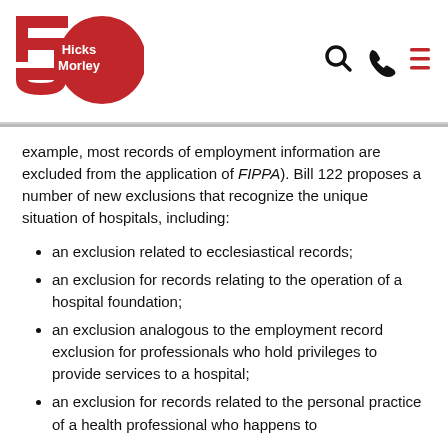[Figure (logo): Hicks Morley 50th anniversary logo — red stylized '5' and red circle with 'Hicks Morley' text in white]
[Figure (other): Navigation icons: magnifying glass (search), telephone, and hamburger menu lines — all in dark/red color]
example, most records of employment information are excluded from the application of FIPPA). Bill 122 proposes a number of new exclusions that recognize the unique situation of hospitals, including:
an exclusion related to ecclesiastical records;
an exclusion for records relating to the operation of a hospital foundation;
an exclusion analogous to the employment record exclusion for professionals who hold privileges to provide services to a hospital;
an exclusion for records related to the personal practice of a health professional who happens to